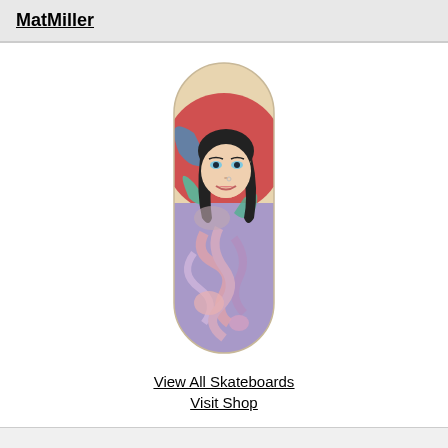MatMiller
[Figure (illustration): A skateboard deck featuring an illustration of a dark-haired woman with blue eyes and a nose ring, with colorful tattoo-style body art including swirling purple and pink octopus tentacles and green butterfly elements, against a red circular background.]
View All Skateboards
Visit Shop
JayRied